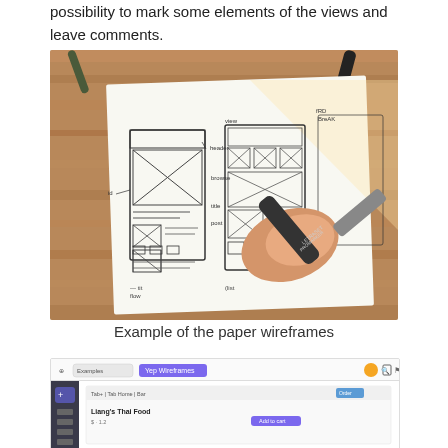possibility to mark some elements of the views and leave comments.
[Figure (photo): A hand drawing wireframes on paper with a Letraset Promarker pen, showing two phone app wireframe sketches on a wooden desk]
Example of the paper wireframes
[Figure (screenshot): Screenshot of a design/wireframing application showing a mobile app interface with navigation elements and content including Liang's Thai Food]